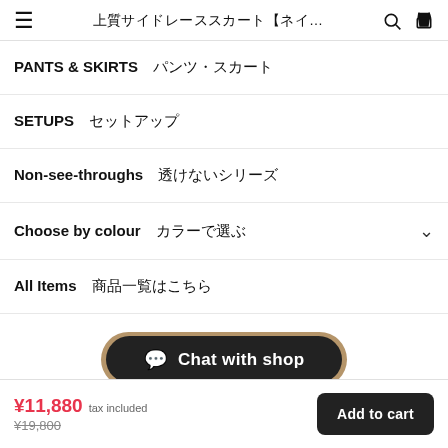上質サイドレーススカート【ネイ…
PANTS & SKIRTS　パンツ・スカート
SETUPS　セットアップ
Non-see-throughs　透けないシリーズ
Choose by colour　カラーで選ぶ
All Items　商品一覧はこちら
💬 Chat with shop
¥11,880 tax included ¥19,800 Add to cart